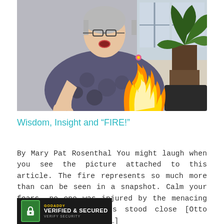[Figure (photo): An elderly woman with glasses and a patterned sweater stands with her hands raised near a flame. A potted plant is visible in the background to the right. The woman appears surprised or excited.]
Wisdom, Insight and “FIRE!”
By Mary Pat Rosenthal You might laugh when you see the picture attached to this article. The fire represents so much more than can be seen in a snapshot. Calm your fears, no one was injured by the menacing flame. Family members stood close [Otto celebrated her 90th […]
[Figure (logo): GoDaddy Verified & Secured badge in black background with green padlock icon and yellow GoDaddy text.]